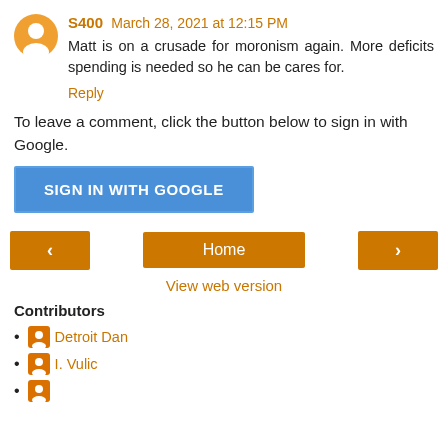S400  March 28, 2021 at 12:15 PM
Matt is on a crusade for moronism again. More deficits spending is needed so he can be cares for.
Reply
To leave a comment, click the button below to sign in with Google.
SIGN IN WITH GOOGLE
Home
View web version
Contributors
Detroit Dan
I. Vulic